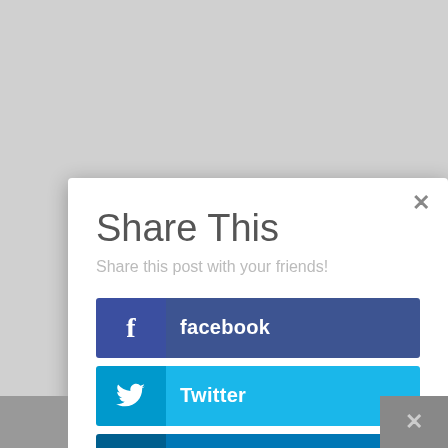Share This
Share this post with your friends!
facebook
Twitter
LinkedIn